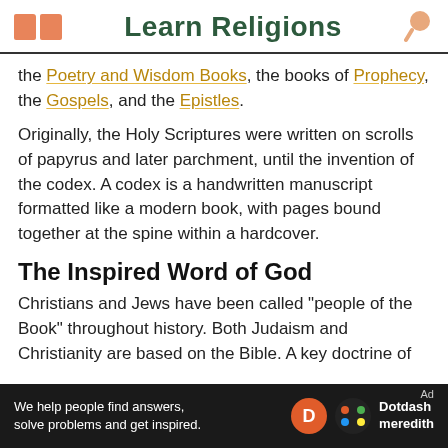Learn Religions
the Poetry and Wisdom Books, the books of Prophecy, the Gospels, and the Epistles.
Originally, the Holy Scriptures were written on scrolls of papyrus and later parchment, until the invention of the codex. A codex is a handwritten manuscript formatted like a modern book, with pages bound together at the spine within a hardcover.
The Inspired Word of God
Christians and Jews have been called "people of the Book" throughout history. Both Judaism and Christianity are based on the Bible. A key doctrine of
[Figure (logo): Dotdash Meredith advertisement bar with text 'We help people find answers, solve problems and get inspired.' and Dotdash Meredith logo]